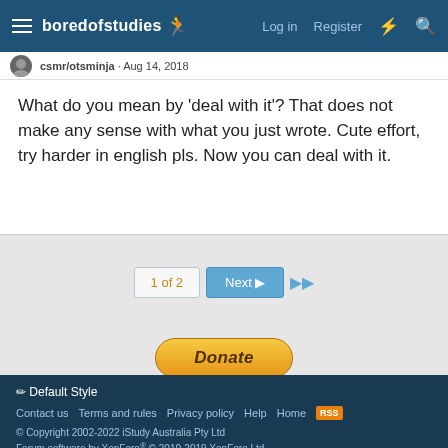boredofstudies | Log in | Register
csmr/otsminja · Aug 14, 2018
What do you mean by 'deal with it'? That does not make any sense with what you just wrote. Cute effort, try harder in english pls. Now you can deal with it.
1 of 2  Next  ▶▶
[Figure (other): PayPal Donate button with BANK, VISA, and Mastercard payment icons]
< Members
Default Style | Contact us | Terms and rules | Privacy policy | Help | Home | © Copyright 2002-2022 iStudy Australia Pty Ltd | Forum software by XenForo® © 2010-2019 XenForo Ltd.